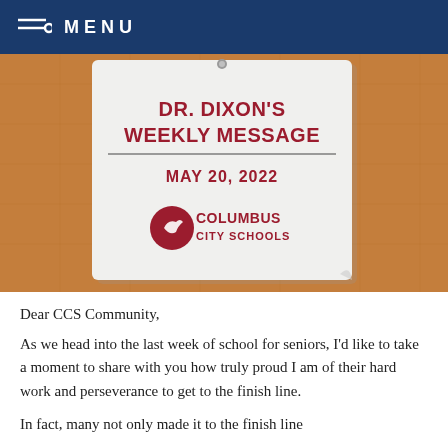MENU
[Figure (illustration): Bulletin board with a pinned note card reading 'Dr. Dixon's Weekly Message', 'May 20, 2022', and Columbus City Schools logo on a corkboard background.]
Dear CCS Community,
As we head into the last week of school for seniors, I'd like to take a moment to share with you how truly proud I am of their hard work and perseverance to get to the finish line.
In fact, many not only made it to the finish line